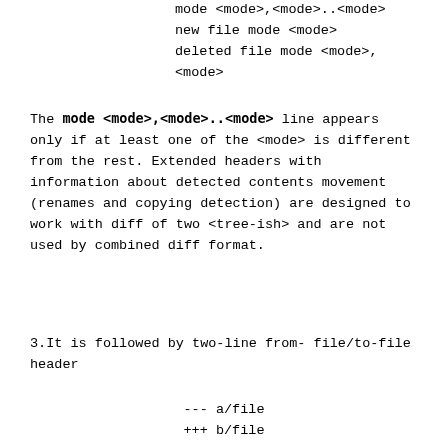mode <mode>,<mode>..<mode>
new file mode <mode>
deleted file mode <mode>,
<mode>
The mode <mode>,<mode>..<mode> line appears only if at least one of the <mode> is different from the rest. Extended headers with information about detected contents movement (renames and copying detection) are designed to work with diff of two <tree-ish> and are not used by combined diff format.
3.It is followed by two-line from-file/to-file header
--- a/file
+++ b/file